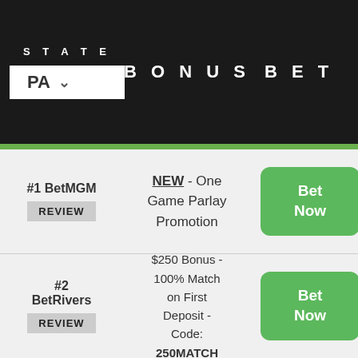STATE  BONUS  BET
PA
| STATE | BONUS | BET |
| --- | --- | --- |
| #1 BetMGM REVIEW | NEW - One Game Parlay Promotion | Bet Now |
| #2 BetRivers REVIEW | $250 Bonus - 100% Match on First Deposit - Code: 250MATCH | Bet Now |